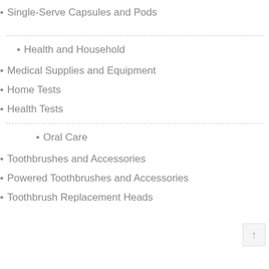Single-Serve Capsules and Pods
Health and Household
Medical Supplies and Equipment
Home Tests
Health Tests
Oral Care
Toothbrushes and Accessories
Powered Toothbrushes and Accessories
Toothbrush Replacement Heads